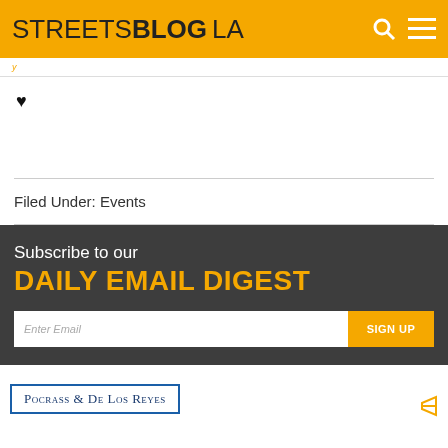STREETSBLOG LA
♥
Filed Under: Events
Subscribe to our DAILY EMAIL DIGEST
Enter Email
SIGN UP
Pocrass & De Los Reyes